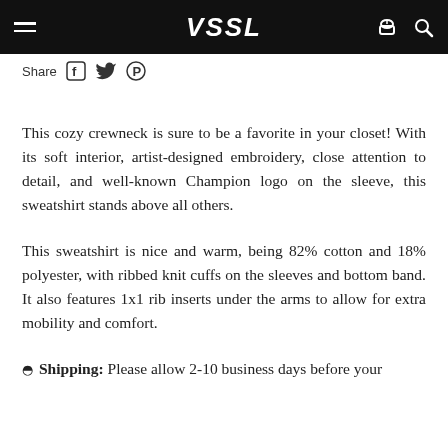VSSL (logo navigation bar with hamburger menu, basket icon, and search icon)
Share
This cozy crewneck is sure to be a favorite in your closet! With its soft interior, artist-designed embroidery, close attention to detail, and well-known Champion logo on the sleeve, this sweatshirt stands above all others.
This sweatshirt is nice and warm, being 82% cotton and 18% polyester, with ribbed knit cuffs on the sleeves and bottom band. It also features 1x1 rib inserts under the arms to allow for extra mobility and comfort.
☞ Shipping: Please allow 2-10 business days before your